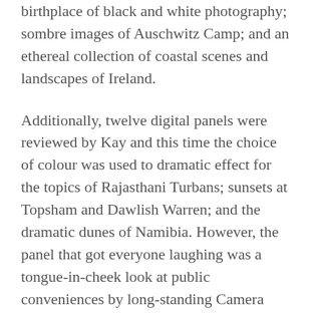birthplace of black and white photography; sombre images of Auschwitz Camp; and an ethereal collection of coastal scenes and landscapes of Ireland.
Additionally, twelve digital panels were reviewed by Kay and this time the choice of colour was used to dramatic effect for the topics of Rajasthani Turbans; sunsets at Topsham and Dawlish Warren; and the dramatic dunes of Namibia. However, the panel that got everyone laughing was a tongue-in-cheek look at public conveniences by long-standing Camera Club member, Tony Wilson – who went on to get a Gold.